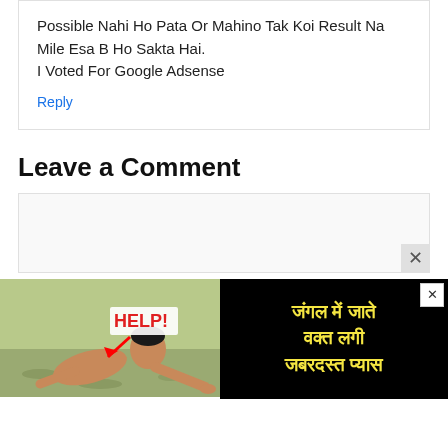Possible Nahi Ho Pata Or Mahino Tak Koi Result Na Mile Esa B Ho Sakta Hai.
I Voted For Google Adsense
Reply
Leave a Comment
[Figure (screenshot): Comment textarea input box with close button]
[Figure (photo): Advertisement banner showing a man crawling in a field with HELP! text in red and Hindi text in yellow on black background reading: जंगल में जाते वक्त लगी जबरदस्त प्यास]